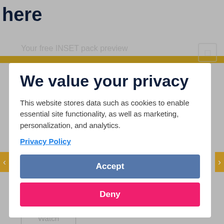here
[Figure (screenshot): Website background showing partial text 'here', a gold horizontal bar, preview label, download button, video navigation arrows, and resource listings — all dimmed behind a privacy consent modal dialog]
We value your privacy
This website stores data such as cookies to enable essential site functionality, as well as marketing, personalization, and analytics.
Privacy Policy
Accept
Deny